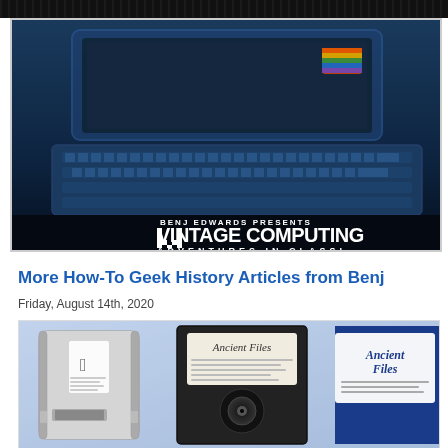[Figure (illustration): Vintage Computing blog header banner showing an old computer keyboard in blue tones, with white pixel-style logo text reading 'BENJ EDWARDS PRESENTS Vintage Computing' and 'ADVENTURES IN CLASSI...' below]
More How-To Geek History Articles from Benj
Friday, August 14th, 2020
[Figure (photo): Photo showing vintage floppy disks on a blue background: an Apple 3.5-inch floppy disk on the left, a black 5.25-inch floppy disk in the center labeled 'Ancient Files' with descriptive text, and a partial blue floppy disk on the right also labeled 'Ancient Files']